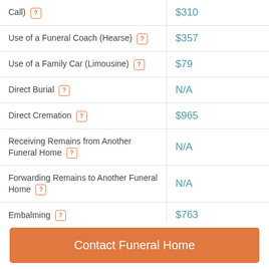| Service | Price |
| --- | --- |
| Call) | $310 |
| Use of a Funeral Coach (Hearse) | $357 |
| Use of a Family Car (Limousine) | $79 |
| Direct Burial | N/A |
| Direct Cremation | $965 |
| Receiving Remains from Another Funeral Home | N/A |
| Forwarding Remains to Another Funeral Home | N/A |
| Embalming | $763 |
The prices on our site are for your reference only. We can't guarantee that the actual prices will be the same as the prices listed on our site. All funeral homes have an effective date on their Price Lists that are
Contact Funeral Home